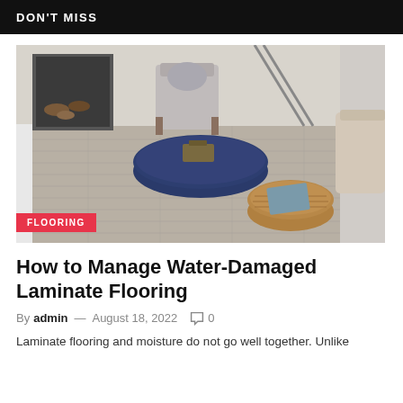DON'T MISS
[Figure (photo): Living room interior with light grey laminate flooring, a round navy blue ottoman coffee table, a wicker floor cushion with a magazine, a grey fabric chair, and a fireplace with logs in the background.]
FLOORING
How to Manage Water-Damaged Laminate Flooring
By admin — August 18, 2022   0
Laminate flooring and moisture do not go well together. Unlike